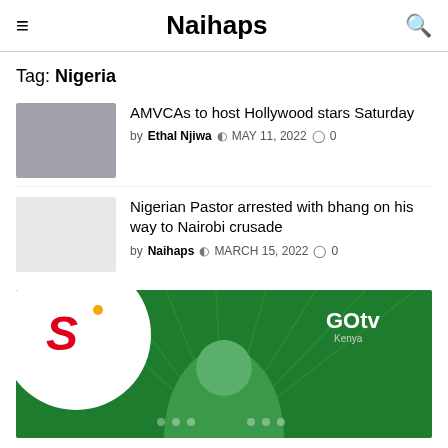Naihaps
Tag: Nigeria
AMVCAs to host Hollywood stars Saturday — by Ethal Njiwa, MAY 11, 2022, 0 comments
Nigerian Pastor arrested with bhang on his way to Nairobi crusade — by Naihaps, MARCH 15, 2022, 0 comments
[Figure (photo): GOtv Kenya advertisement banner with Showmax logo and person]